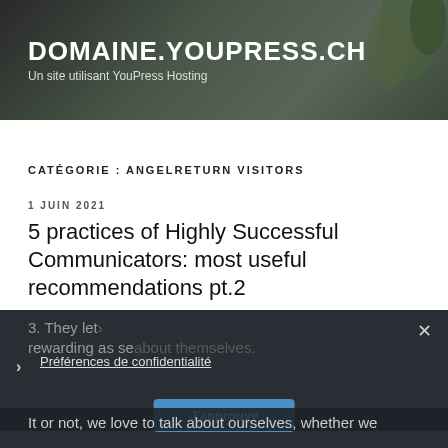DOMAINE.YOUPRESS.CH
Un site utilisant YouPress Hosting
CATÉGORIE : ANGELRETURN VISITORS
1 JUIN 2021
5 practices of Highly Successful Communicators: most useful recommendations pt.2
3. They let… rewarding as se… about themselves.
It or not, we love to talk about ourselves, whether we
× Préférences de confidentialité J'approuve